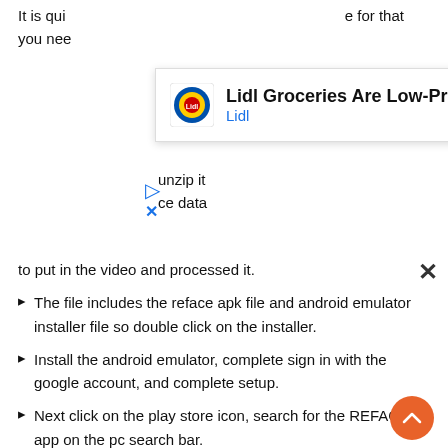It is qui... for that you nee...
[Figure (other): Lidl advertisement banner showing 'Lidl Groceries Are Low-Priced' with Lidl logo and navigation arrow icon]
Click on... unzip it on your... ce data to put in the video and processed it.
The file includes the reface apk file and android emulator installer file so double click on the installer.
Install the android emulator, complete sign in with the google account, and complete setup.
Next click on the play store icon, search for the REFACE app on the pc search bar.
Look for the official app, click on the install button and it will start the installation of the app.
Once it installed you will get a notification of it and you can use it now.